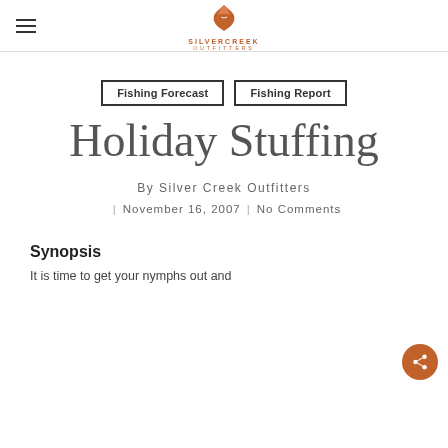Silver Creek Outfitters
Fishing Forecast
Fishing Report
Holiday Stuffing
By Silver Creek Outfitters
November 16, 2007 | No Comments
Synopsis
It is time to get your nymphs out and